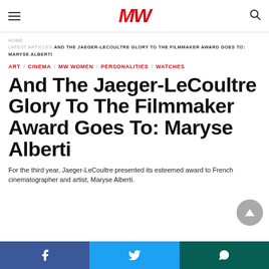MW
HOME LATEST ARTICLES AND THE JAEGER-LECOULTRE GLORY TO THE FILMMAKER AWARD GOES TO: MARYSE ALBERTI
ART / CINEMA / MW WOMEN / PERSONALITIES / WATCHES
And The Jaeger-LeCoultre Glory To The Filmmaker Award Goes To: Maryse Alberti
For the third year, Jaeger-LeCoultre presented its esteemed award to French cinematographer and artist, Maryse Alberti.